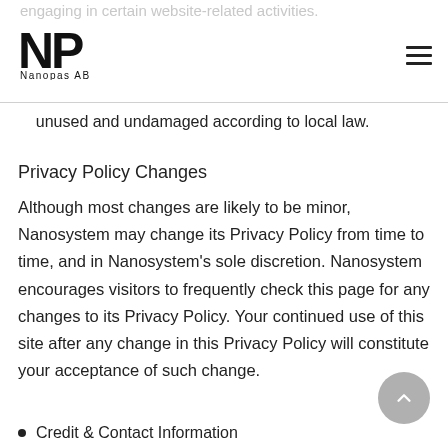[Figure (logo): Nanopas AB logo with NP monogram and hamburger menu icon]
Customers have, from the date of arrival of go... 14 day right to return purchased goods that are unused and undamaged according to local law.
Privacy Policy Changes
Although most changes are likely to be minor, Nanosystem may change its Privacy Policy from time to time, and in Nanosystem’s sole discretion. Nanosystem encourages visitors to frequently check this page for any changes to its Privacy Policy. Your continued use of this site after any change in this Privacy Policy will constitute your acceptance of such change.
Credit & Contact Information